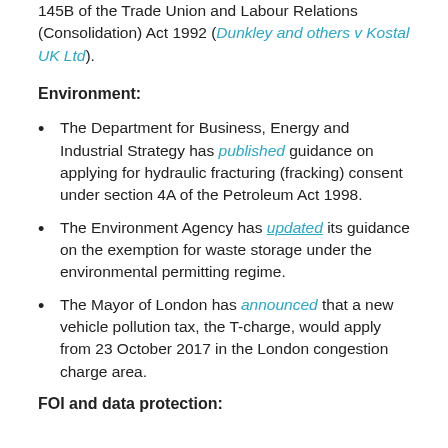145B of the Trade Union and Labour Relations (Consolidation) Act 1992 (Dunkley and others v Kostal UK Ltd).
Environment:
The Department for Business, Energy and Industrial Strategy has published guidance on applying for hydraulic fracturing (fracking) consent under section 4A of the Petroleum Act 1998.
The Environment Agency has updated its guidance on the exemption for waste storage under the environmental permitting regime.
The Mayor of London has announced that a new vehicle pollution tax, the T-charge, would apply from 23 October 2017 in the London congestion charge area.
FOI and data protection: